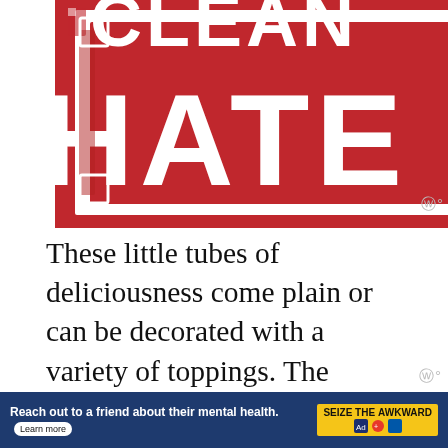[Figure (logo): Red rectangular logo with text 'HATE' visible, with decorative border elements. Partial view of a sign/logo.]
These little tubes of deliciousness come plain or can be decorated with a variety of toppings. The ends are dipped in chocolate and then double dipped into ground pistachios, small cherry pieces, chopped almonds or candied orange. Cannoli was originally a
[Figure (infographic): Advertisement bar: 'Reach out to a friend about their mental health. Learn more' with 'SEIZE THE AWKWARD' badge and sponsor logos.]